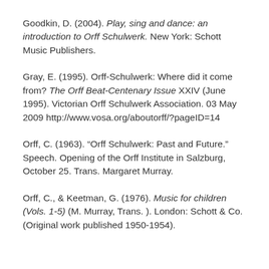Goodkin, D. (2004). Play, sing and dance: an introduction to Orff Schulwerk. New York: Schott Music Publishers.
Gray, E. (1995). Orff-Schulwerk: Where did it come from? The Orff Beat-Centenary Issue XXIV (June 1995). Victorian Orff Schulwerk Association. 03 May 2009 http://www.vosa.org/aboutorff/?pageID=14
Orff, C. (1963). "Orff Schulwerk: Past and Future." Speech. Opening of the Orff Institute in Salzburg, October 25. Trans. Margaret Murray.
Orff, C., & Keetman, G. (1976). Music for children (Vols. 1-5) (M. Murray, Trans. ). London: Schott & Co. (Original work published 1950-1954).